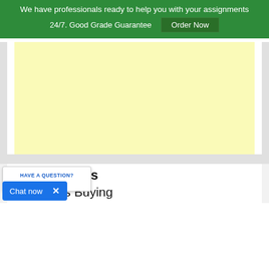We have professionals ready to help you with your assignments 24/7. Good Grade Guarantee
Order Now
[Figure (other): Yellow advertisement block placeholder]
HAVE A QUESTION?
CHAT NOW
Recent Posts
on Musk's Buying
Chat now  ×